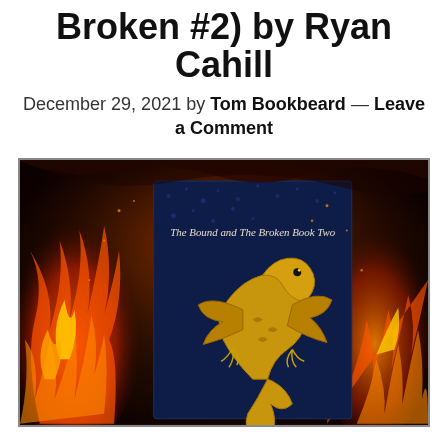Broken #2) by Ryan Cahill
December 29, 2021 by Tom Bookbeard — Leave a Comment
[Figure (photo): Book cover of 'The Bound and The Broken Book Two' showing a golden dragon illustration on a dark blue textured background, surrounded by flames on the left and right sides.]